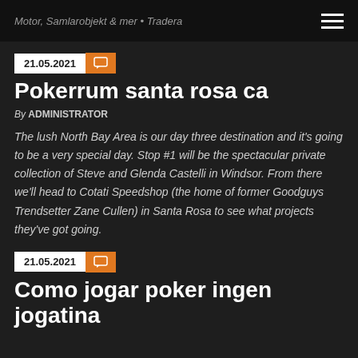Motor, Samlarobjekt & mer • Tradera
21.05.2021
Pokerrum santa rosa ca
By ADMINISTRATOR
The lush North Bay Area is our day three destination and it's going to be a very special day. Stop #1 will be the spectacular private collection of Steve and Glenda Castelli in Windsor. From there we'll head to Cotati Speedshop (the home of former Goodguys Trendsetter Zane Cullen) in Santa Rosa to see what projects they've got going.
21.05.2021
Como jogar poker ingen jogatina